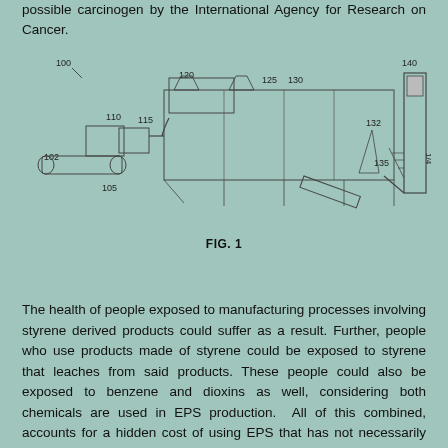possible carcinogen by the International Agency for Research on Cancer.
[Figure (engineering-diagram): Industrial engineering diagram (patent drawing) labeled FIG. 1, showing a large industrial processing system with numbered components: 100, 102, 105, 110, 115, 120, 125, 130, 132, 135, 140. The system appears to be an EPS (expanded polystyrene) processing/recycling line shown in perspective view. A '1/4' page marker appears on the right side.]
FIG. 1
The health of people exposed to manufacturing processes involving styrene derived products could suffer as a result. Further, people who use products made of styrene could be exposed to styrene that leaches from said products. These people could also be exposed to benzene and dioxins as well, considering both chemicals are used in EPS production. All of this combined, accounts for a hidden cost of using EPS that has not necessarily been considered by much of the